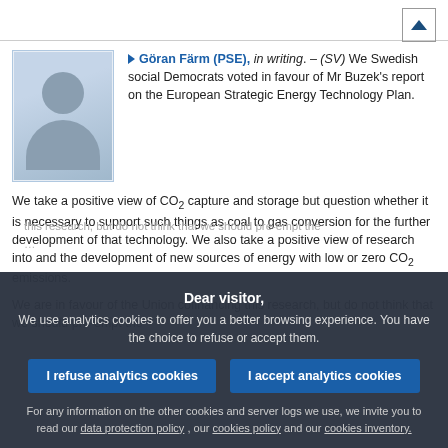Göran Färm (PSE), in writing. – (SV) We Swedish social Democrats voted in favour of Mr Buzek's report on the European Strategic Energy Technology Plan.
We take a positive view of CO₂ capture and storage but question whether it is necessary to support such things as coal to gas conversion for the further development of that technology. We also take a positive view of research into and the development of new sources of energy with low or zero CO₂ emissions.
We are in favour of the Union cofinancing this research, but do not think that we should pre-empt the
Dear visitor,
We use analytics cookies to offer you a better browsing experience. You have the choice to refuse or accept them.
For any information on the other cookies and server logs we use, we invite you to read our data protection policy, our cookies policy and our cookies inventory.